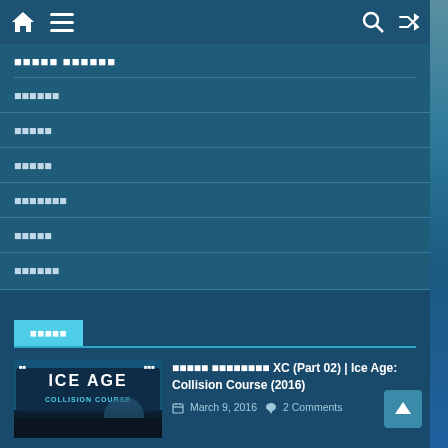Navigation bar with home, menu, search, shuffle icons
■■■■■ ■■■■■■
■■■■■■
■■■■■
■■■■■
■■■■■■■
■■■■■
■■■■■■
■■■■■
[Figure (screenshot): Ice Age Collision Course movie thumbnail/banner]
■■■■■ ■■■■■■■■ XC (Part 02) | Ice Age: Collision Course (2016)
March 9, 2016  2 Comments